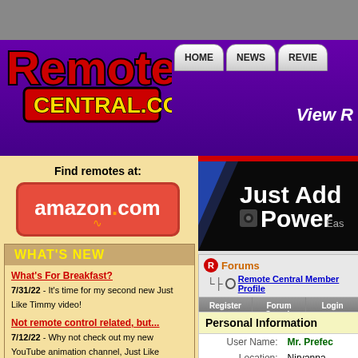[Figure (logo): RemoteCentral.com logo - red and yellow text with black outline on orange/red background]
HOME  NEWS  REVIE...
View R...
[Figure (logo): amazon.com red button logo]
Find remotes at:
WHAT'S NEW
What's For Breakfast?
7/31/22 - It's time for my second new Just Like Timmy video!
Not remote control related, but...
7/12/22 - Why not check out my new YouTube animation channel, Just Like Timmy!
[Figure (screenshot): Just Add Power advertisement banner - black background with white bold text]
Forums
Remote Central Member Profile
Register  Forum Search  Login
Personal Information
| Field | Value |
| --- | --- |
| User Name: | Mr. Prefec... |
| Location: | Nirvanna... |